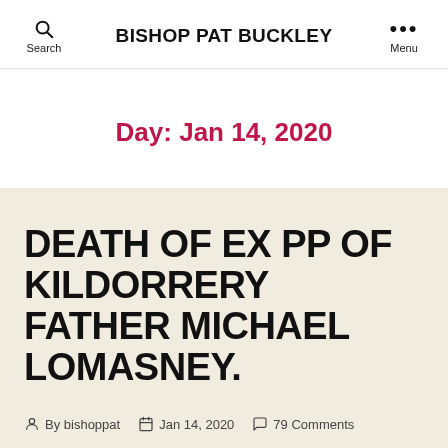BISHOP PAT BUCKLEY
Day: Jan 14, 2020
DEATH OF EX PP OF KILDORRERY FATHER MICHAEL LOMASNEY.
By bishoppat  Jan 14, 2020  79 Comments